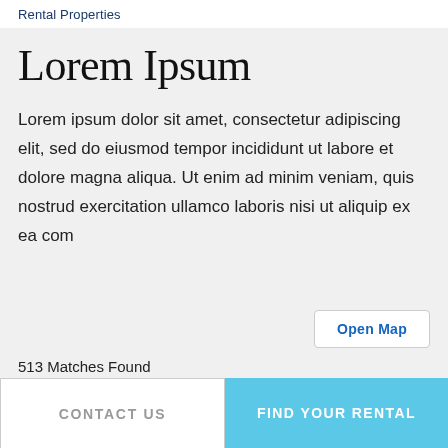Rental Properties
Lorem Ipsum
Lorem ipsum dolor sit amet, consectetur adipiscing elit, sed do eiusmod tempor incididunt ut labore et dolore magna aliqua. Ut enim ad minim veniam, quis nostrud exercitation ullamco laboris nisi ut aliquip ex ea com
Open Map
513 Matches Found
Listings Per Page  10  Recently Updated
CONTACT US
FIND YOUR RENTAL